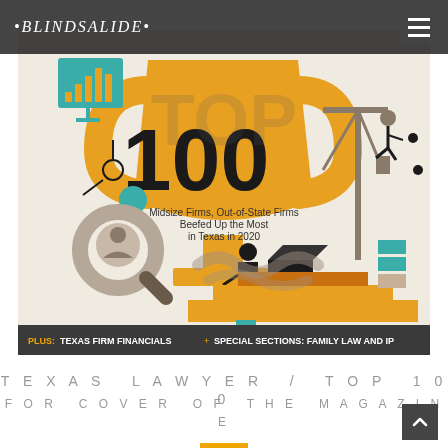BLINDSALIDE [logo] | hamburger menu
[Figure (illustration): Texas Lawyer Top 100 magazine cover illustration featuring a large golden trophy with '100' text, surrounded by illustrated workers, construction crane, analytics chart, magnifying glass figure, and factory/industrial elements. Bottom banner reads: 'PLUS: TEXAS FIRM FINANCIALS + SPECIAL SECTIONS: FAMILY LAW AND IP'. Text on trophy area: 'Midsize Firms, Out-of-State Firms Beefed Up the Most in Texas in 2020']
TEXAS LAWYER / TOP 100
FOR COVER OF THE MAGAZINE